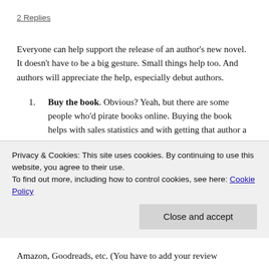2 Replies
Everyone can help support the release of an author's new novel. It doesn't have to be a big gesture. Small things help too. And authors will appreciate the help, especially debut authors.
Buy the book. Obvious? Yeah, but there are some people who'd pirate books online. Buying the book helps with sales statistics and with getting that author a royalty. Also, if you're interested in a soon-to-be-released novel, pre-order it. The more books are pre-
Privacy & Cookies: This site uses cookies. By continuing to use this website, you agree to their use.
To find out more, including how to control cookies, see here: Cookie Policy
Close and accept
Amazon, Goodreads, etc. (You have to add your review